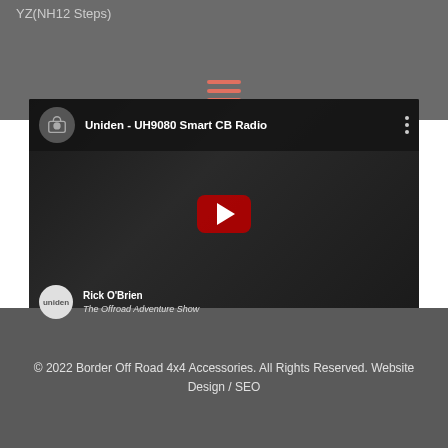YT (2 Steps)
[Figure (screenshot): YouTube video embed mockup showing 'Uniden - UH9080 Smart CB Radio' video thumbnail with play button, channel avatar, presenter Rick O'Brien from The Offroad Adventure Show, and a Uniden logo overlay.]
© 2022 Border Off Road 4x4 Accessories. All Rights Reserved. Website Design / SEO